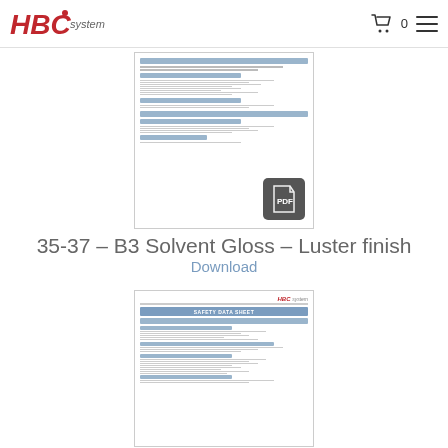HBC system
[Figure (screenshot): Thumbnail preview of a Safety Data Sheet PDF document with a PDF icon overlay]
35-37 – B3 Solvent Gloss – Luster finish
Download
[Figure (screenshot): Thumbnail preview of a Safety Data Sheet PDF document showing HBC system header and SAFETY DATA SHEET title with blue banner]